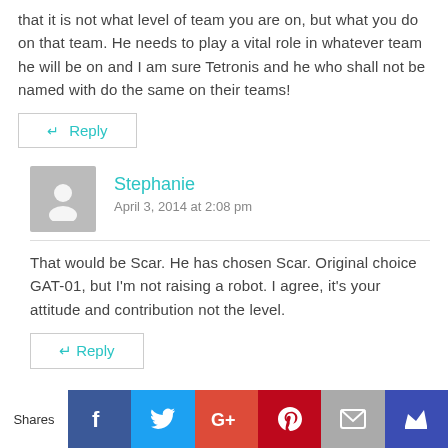that it is not what level of team you are on, but what you do on that team. He needs to play a vital role in whatever team he will be on and I am sure Tetronis and he who shall not be named with do the same on their teams!
↵ Reply
Stephanie
April 3, 2014 at 2:08 pm
That would be Scar. He has chosen Scar. Original choice GAT-01, but I'm not raising a robot. I agree, it's your attitude and contribution not the level.
↵ Reply
[Figure (infographic): Social sharing bar with icons for Facebook, Twitter, Google+, Pinterest, Email, and a crown icon. Labeled 'Shares' on the left.]